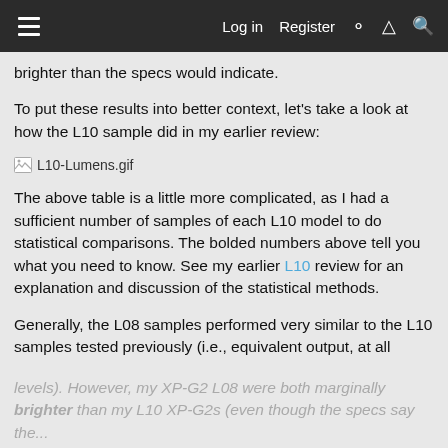Log in  Register
brighter than the specs would indicate.
To put these results into better context, let's take a look at how the L10 sample did in my earlier review:
[Figure (other): Broken image placeholder labeled L10-Lumens.gif]
The above table is a little more complicated, as I had a sufficient number of samples of each L10 model to do statistical comparisons. The bolded numbers above tell you what you need to know. See my earlier L10 review for an explanation and discussion of the statistical methods.
Generally, the L08 samples performed very similar to the L10 samples tested previously (i.e., equivalent output, at all levels). However, my XP-G2 L08 were both marginally brighter than my L10 XP-G2s (even though the specs say the...